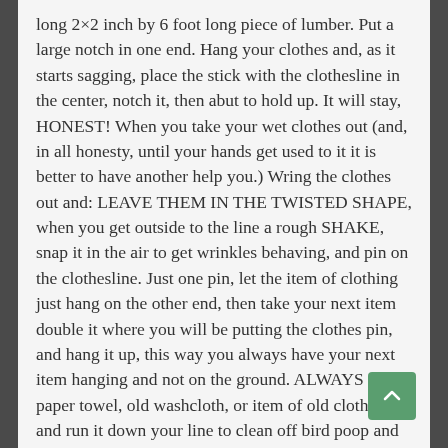long 2×2 inch by 6 foot long piece of lumber. Put a large notch in one end. Hang your clothes and, as it starts sagging, place the stick with the clothesline in the center, notch it, then abut to hold up. It will stay, HONEST! When you take your wet clothes out (and, in all honesty, until your hands get used to it it is better to have another help you.) Wring the clothes out and: LEAVE THEM IN THE TWISTED SHAPE, when you get outside to the line a rough SHAKE, snap it in the air to get wrinkles behaving, and pin on the clothesline. Just one pin, let the item of clothing just hang on the other end, then take your next item double it where you will be putting the clothes pin, and hang it up, this way you always have your next item hanging and not on the ground. ALWAYS get a paper towel, old washcloth, or item of old clothing and run it down your line to clean off bird poop and grime just